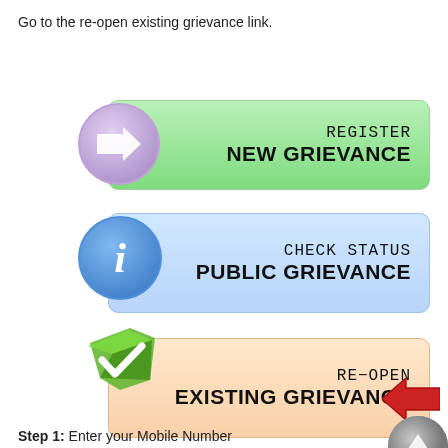Go to the re-open existing grievance link.
[Figure (screenshot): Three UI buttons: 1) Green button with purple arrow icon - REGISTER NEW GRIEVANCE, 2) Blue button with info icon - CHECK STATUS PUBLIC GRIEVANCE, 3) Peach/orange button with green checkmark icon - RE-OPEN EXISTING GRIEVANCE with red left arrow and gray scroll circle. Watermark: www.indianin.ag]
Step 1: Enter your Mobile Number